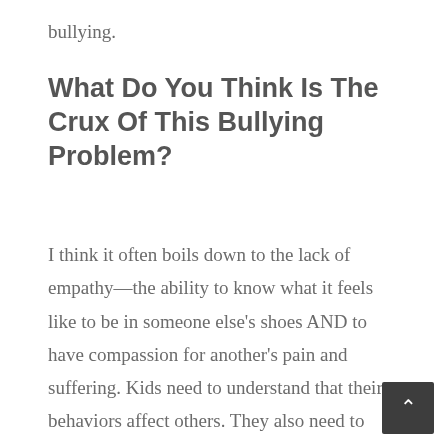bullying.
What Do You Think Is The Crux Of This Bullying Problem?
I think it often boils down to the lack of empathy—the ability to know what it feels like to be in someone else's shoes AND to have compassion for another's pain and suffering. Kids need to understand that their behaviors affect others. They also need to